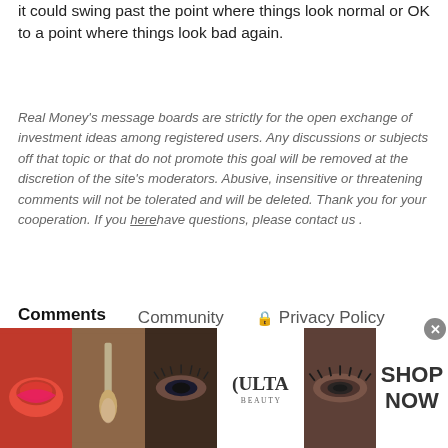it could swing past the point where things look normal or OK to a point where things look bad again.
Real Money's message boards are strictly for the open exchange of investment ideas among registered users. Any discussions or subjects off that topic or that do not promote this goal will be removed at the discretion of the site's moderators. Abusive, insensitive or threatening comments will not be tolerated and will be deleted. Thank you for your cooperation. If you here have questions, please contact us .
Comments   Community   Privacy Policy
1  Login
♡ Favorite   Sort by Newest
Start the discussion...
[Figure (advertisement): Ulta Beauty advertisement banner with makeup photos and 'SHOP NOW' text]